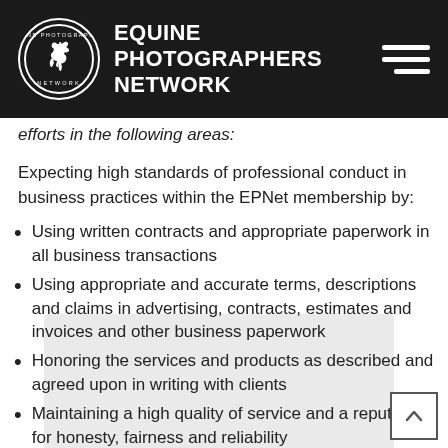EQUINE PHOTOGRAPHERS NETWORK
efforts in the following areas:
Expecting high standards of professional conduct in business practices within the EPNet membership by:
Using written contracts and appropriate paperwork in all business transactions
Using appropriate and accurate terms, descriptions and claims in advertising, contracts, estimates and invoices and other business paperwork
Honoring the services and products as described and agreed upon in writing with clients
Maintaining a high quality of service and a reputation for honesty, fairness and reliability